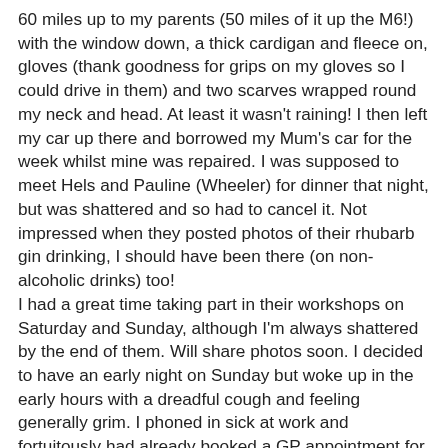60 miles up to my parents (50 miles of it up the M6!) with the window down, a thick cardigan and fleece on, gloves (thank goodness for grips on my gloves so I could drive in them) and two scarves wrapped round my neck and head. At least it wasn't raining! I then left my car up there and borrowed my Mum's car for the week whilst mine was repaired. I was supposed to meet Hels and Pauline (Wheeler) for dinner that night, but was shattered and so had to cancel it. Not impressed when they posted photos of their rhubarb gin drinking, I should have been there (on non-alcoholic drinks) too!
I had a great time taking part in their workshops on Saturday and Sunday, although I'm always shattered by the end of them. Will share photos soon. I decided to have an early night on Sunday but woke up in the early hours with a dreadful cough and feeling generally grim. I phoned in sick at work and fortuitously had already booked a GP appointment for the next day for a meds review. By the time I saw my GP I was struggling to breathe, coughing was agony and I felt like death warmed up. He declared that I had an "impressive" temperature at 39.4 and prescribed antibiotics and steroid tablets. I've spent the rest of the week slowly